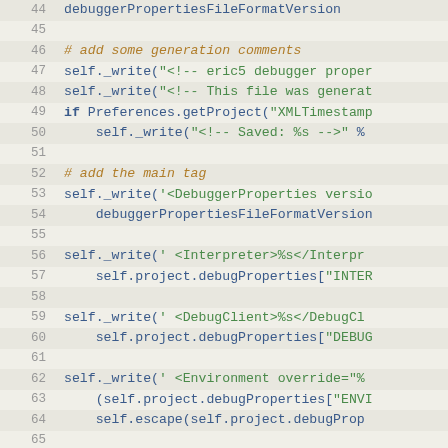[Figure (screenshot): Source code editor showing Python code lines 44-70, with alternating highlighted rows, line numbers in gray, comments in orange italic, string literals in green, and code in blue monospace font on a light beige background.]